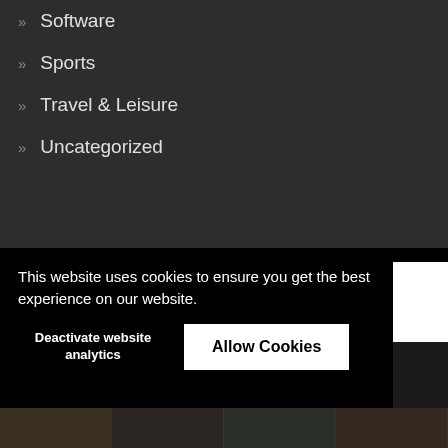» Software
» Sports
» Travel & Leisure
» Uncategorized
This website uses cookies to ensure you get the best experience on our website.
Deactivate website analytics
Allow Cookies
[Figure (photo): Strip of thumbnail photos of people at the bottom of the page]